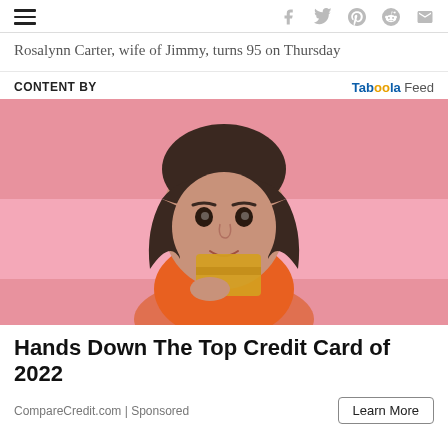Navigation header with hamburger menu and social share icons (Facebook, Twitter, Pinterest, Reddit, Email)
Rosalynn Carter, wife of Jimmy, turns 95 on Thursday
CONTENT BY
Taboola Feed
[Figure (photo): Young woman with bangs looking at camera, holding a gold/yellow credit card, pink background, wearing an orange top]
Hands Down The Top Credit Card of 2022
CompareCredit.com | Sponsored
Learn More